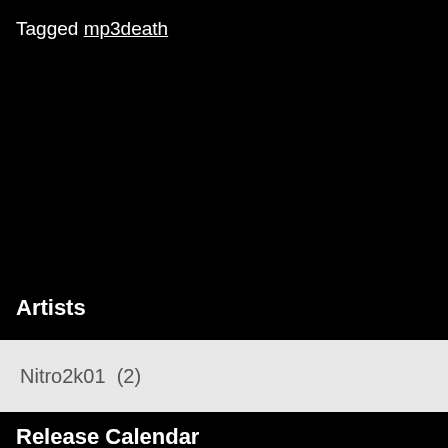Tagged mp3death
Artists
Nitro2k01  (2)
Release Calendar